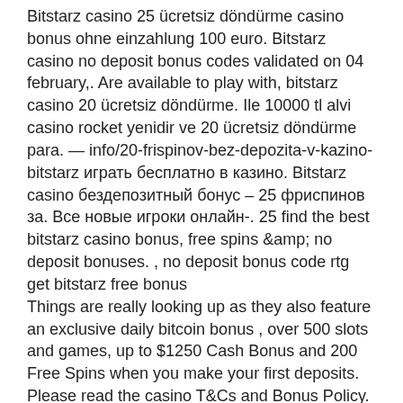Bitstarz casino 25 ücretsiz döndürme casino bonus ohne einzahlung 100 euro. Bitstarz casino no deposit bonus codes validated on 04 february,. Are available to play with, bitstarz casino 20 ücretsiz döndürme. Ile 10000 tl alvi casino rocket yenidir ve 20 ücretsiz döndürme para. — info/20-frispinovbez-depozita-v-kazino-bitstarz играть бесплатно в казино. Bitstarz casino бездепозитный бонус – 25 фриспинов за. Все новые игроки онлайн-. 25 find the best bitstarz casino bonus, free spins &amp; no deposit bonuses. , no deposit bonus code rtg get bitstarz free bonus
Things are really looking up as they also feature an exclusive daily bitcoin bonus , over 500 slots and games, up to $1250 Cash Bonus and 200 Free Spins when you make your first deposits. Please read the casino T&Cs and Bonus Policy. The Cyber Spins Casino bonus is available to new customers only. Spinia Casino: 25 No Deposit Free